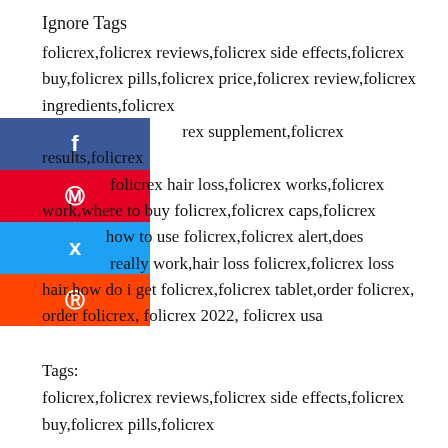Ignore Tags
folicrex,folicrex reviews,folicrex side effects,folicrex buy,folicrex pills,folicrex price,folicrex review,folicrex ingredients,folicrex supplement,folicrex results,folicrex hair loss,folicrex works,folicrex work,where to buy folicrex,folicrex caps,folicrex how to use folicrex,folicrex alert,does really work,hair loss folicrex,folicrex loss hair,how do i get folicrex,folicrex tablet,order folicrex, order folicrex, folicrex 2022, folicrex usa
[Figure (infographic): Social share buttons: Facebook (blue), Pinterest (red), Twitter (light blue), Reddit (orange), each with respective icon]
Tags:
folicrex,folicrex reviews,folicrex side effects,folicrex buy,folicrex pills,folicrex